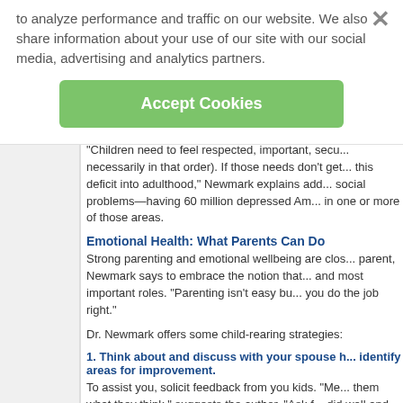to analyze performance and traffic on our website. We also share information about your use of our site with our social media, advertising and analytics partners.
Accept Cookies
"Children need to feel respected, important, secu... necessarily in that order). If those needs don't get... this deficit into adulthood," Newmark explains add... social problems—having 60 million depressed Am... in one or more of those areas.
Emotional Health: What Parents Can Do
Strong parenting and emotional wellbeing are clos... parent, Newmark says to embrace the notion that... and most important roles. "Parenting isn't easy bu... you do the job right."
Dr. Newmark offers some child-rearing strategies:
1. Think about and discuss with your spouse h... identify areas for improvement.
To assist you, solicit feedback from you kids. "Me... them what they think," suggests the author. "Ask f... did well and also if you did anything that made the... unaccepted, etc). Go through the five critical are...